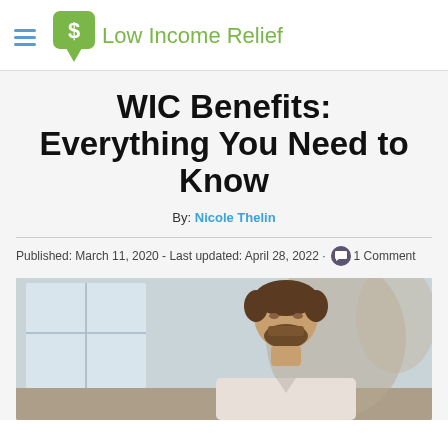Low Income Relief
WIC Benefits: Everything You Need to Know
By: Nicole Thelin
Published: March 11, 2020 - Last updated: April 28, 2022 · 1 Comment
[Figure (photo): A man with a beard, eyes closed or looking down, in an indoor setting with window and blurred background]